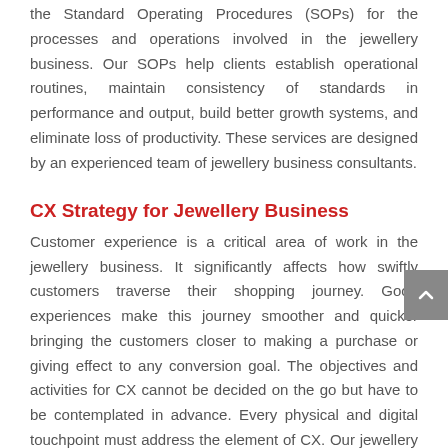the Standard Operating Procedures (SOPs) for the processes and operations involved in the jewellery business. Our SOPs help clients establish operational routines, maintain consistency of standards in performance and output, build better growth systems, and eliminate loss of productivity. These services are designed by an experienced team of jewellery business consultants.
CX Strategy for Jewellery Business
Customer experience is a critical area of work in the jewellery business. It significantly affects how swiftly customers traverse their shopping journey. Good experiences make this journey smoother and quicker bringing the customers closer to making a purchase or giving effect to any conversion goal. The objectives and activities for CX cannot be decided on the go but have to be contemplated in advance. Every physical and digital touchpoint must address the element of CX. Our jewellery consulting experts assist clients in